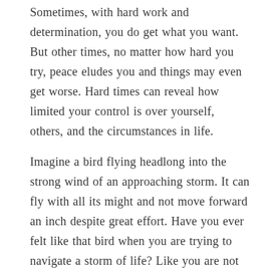Sometimes, with hard work and determination, you do get what you want. But other times, no matter how hard you try, peace eludes you and things may even get worse. Hard times can reveal how limited your control is over yourself, others, and the circumstances in life.
Imagine a bird flying headlong into the strong wind of an approaching storm. It can fly with all its might and not move forward an inch despite great effort. Have you ever felt like that bird when you are trying to navigate a storm of life? Like you are not moving forward because you lack direction, didn't anticipate the storm's severity, or don't know whether to fly or take shelter? What if all that you needed to do to find strength, protection, direction, and peace was to trust and rely upon God?